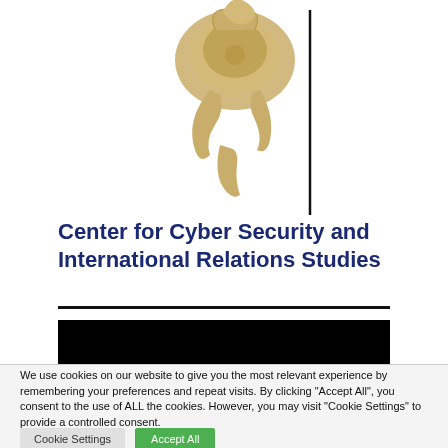[Figure (logo): Gold/tan colored logo with decorative swirl/flame motif and a vertical black dividing line to the right, positioned at top center of the page]
Center for Cyber Security and International Relations Studies
[Figure (other): Horizontal black bar below a thin black dividing line, partially obscuring content]
We use cookies on our website to give you the most relevant experience by remembering your preferences and repeat visits. By clicking "Accept All", you consent to the use of ALL the cookies. However, you may visit "Cookie Settings" to provide a controlled consent.
Cookie Settings   Accept All